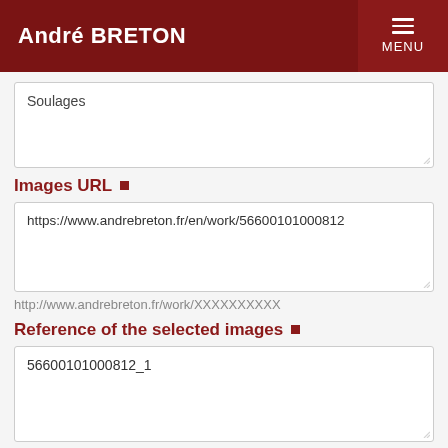André BRETON MENU
Soulages
Images URL ■
https://www.andrebreton.fr/en/work/56600101000812
http://www.andrebreton.fr/work/XXXXXXXXXX
Reference of the selected images ■
56600101000812_1
visible in the zoom on footer, 56600100XXXXXXX_XX